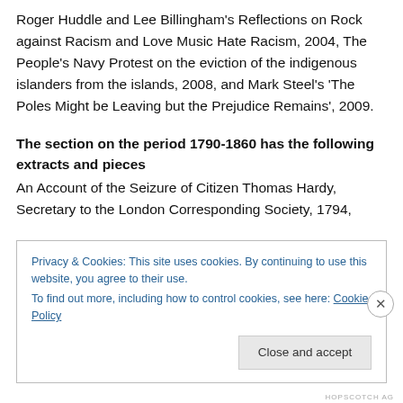Roger Huddle and Lee Billingham's Reflections on Rock against Racism and Love Music Hate Racism, 2004, The People's Navy Protest on the eviction of the indigenous islanders from the islands, 2008, and Mark Steel's 'The Poles Might be Leaving but the Prejudice Remains', 2009.
The section on the period 1790-1860 has the following extracts and pieces
An Account of the Seizure of Citizen Thomas Hardy, Secretary to the London Corresponding Society, 1794,
Privacy & Cookies: This site uses cookies. By continuing to use this website, you agree to their use.
To find out more, including how to control cookies, see here: Cookie Policy
Close and accept